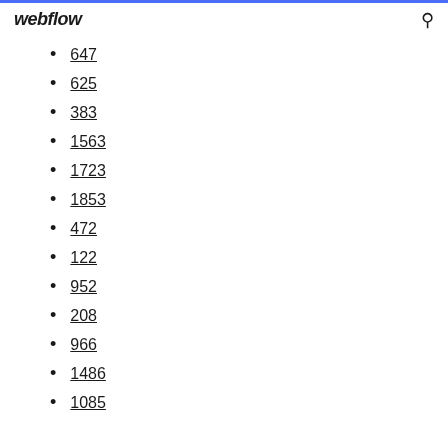webflow
647
625
383
1563
1723
1853
472
122
952
208
966
1486
1085